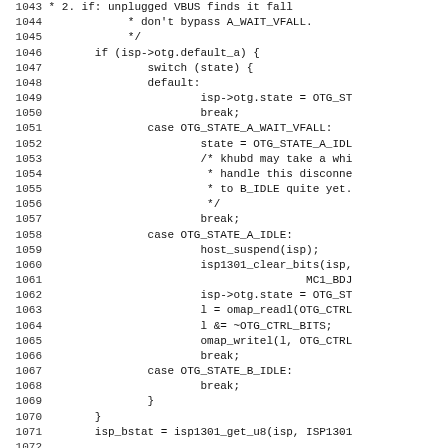Source code listing, lines 1043-1075, C code for OTG state machine